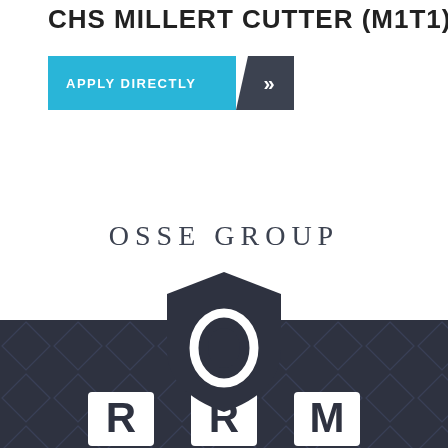CHS MILLERT CUTTER (M1T1)
[Figure (other): Blue and dark gray 'Apply Directly' button with chevron arrows]
OSSE GROUP
[Figure (logo): OSSE Group shield logo — dark charcoal shield shape with letter O inside, white outline]
[Figure (other): Dark charcoal background section with geometric diamond/triangle repeating pattern and three white rounded square icons at the bottom]